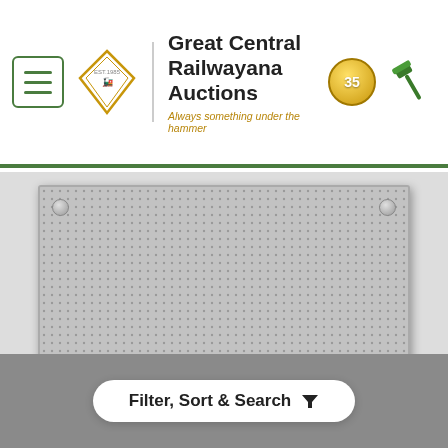Great Central Railwayana Auctions — Always something under the hammer
[Figure (photo): A metal nameplate reading DELIA SMITH on a dark band, mounted on a perforated stainless steel plate with corner and bottom-center screws]
Lot 15
A nameplate, DELIA SMITH, from BR Class ...
Filter, Sort & Search